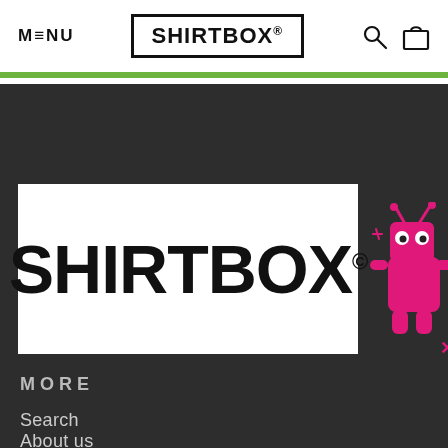MENU | SHIRTBOX® | Search Cart
[Figure (logo): SHIRTBOX® logo in large black bold text on white background inside a black-bordered rectangle, positioned in the dark section]
[Figure (illustration): Pink cartoon robot/alien mascot character in the top-right of the dark section]
MORE
Search
About us
Contact us
Returns Policy
Privacy Policy
Terms and Conditions